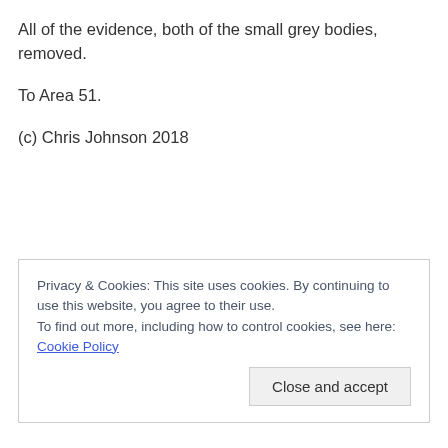All of the evidence, both of the small grey bodies, removed.
To Area 51.
(c) Chris Johnson 2018
Privacy & Cookies: This site uses cookies. By continuing to use this website, you agree to their use.
To find out more, including how to control cookies, see here: Cookie Policy
Close and accept